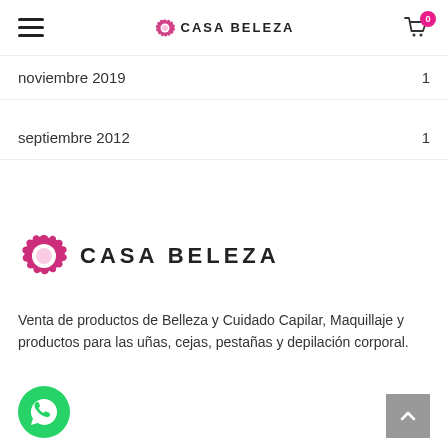Casa Beleza — Navigation header with hamburger menu, logo, and cart icon (0 items)
noviembre 2019    1
septiembre 2012    1
[Figure (logo): Casa Beleza logo: pink gear/flower icon with text CASA BELEZA in bold uppercase]
Venta de productos de Belleza y Cuidado Capilar, Maquillaje y productos para las uñas, cejas, pestañas y depilación corporal.